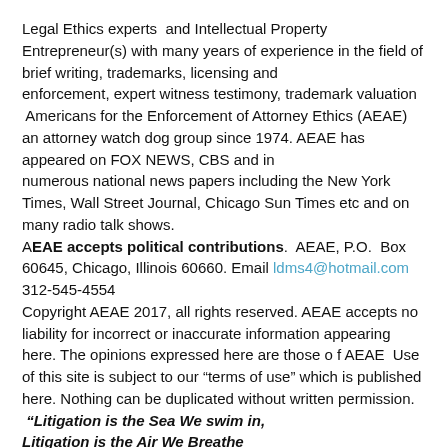Legal Ethics experts  and Intellectual Property Entrepreneur(s) with many years of experience in the field of brief writing, trademarks, licensing and
enforcement, expert witness testimony, trademark valuation
 Americans for the Enforcement of Attorney Ethics (AEAE) an attorney watch dog group since 1974. AEAE has appeared on FOX NEWS, CBS and in
numerous national news papers including the New York Times, Wall Street Journal, Chicago Sun Times etc and on many radio talk shows. AEAE accepts political contributions.  AEAE, P.O.  Box 60645, Chicago, Illinois 60660. Email ldms4@hotmail.com
312-545-4554
Copyright AEAE 2017, all rights reserved. AEAE accepts no liability for incorrect or inaccurate information appearing here. The opinions expressed here are those o f AEAE  Use of this site is subject to our "terms of use" which is published here. Nothing can be duplicated without written permission.
 "Litigation is the Sea We swim in,
Litigation is the Air We Breathe
Litigation is War,